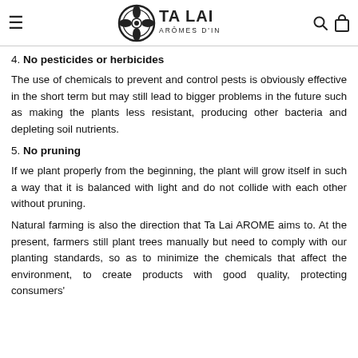TA LAI ARÔMES D'INDOCHINE
4. No pesticides or herbicides
The use of chemicals to prevent and control pests is obviously effective in the short term but may still lead to bigger problems in the future such as making the plants less resistant, producing other bacteria and depleting soil nutrients.
5. No pruning
If we plant properly from the beginning, the plant will grow itself in such a way that it is balanced with light and do not collide with each other without pruning.
Natural farming is also the direction that Ta Lai AROME aims to. At the present, farmers still plant trees manually but need to comply with our planting standards, so as to minimize the chemicals that affect the environment, to create products with good quality, protecting consumers'